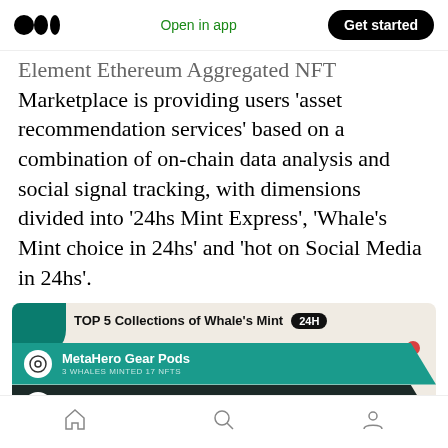Open in app | Get started
Element Ethereum Aggregated NFT Marketplace is providing users ‘asset recommendation services’ based on a combination of on-chain data analysis and social signal tracking, with dimensions divided into ‘24hs Mint Express’, ‘Whale’s Mint choice in 24hs’ and ‘hot on Social Media in 24hs’.
[Figure (infographic): TOP 5 Collections of Whale's Mint 24H infographic showing MetaHero Gear Pods (3 whales minted 17 NFTs), Art Blocks x Pace (3 whales minted 8 NFTs), REDLIONEYE GAZETTE]
Home | Search | Profile